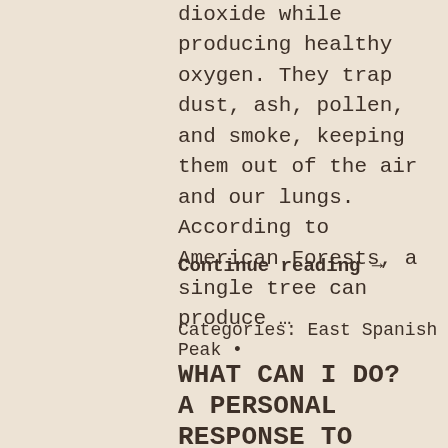dioxide while producing healthy oxygen. They trap dust, ash, pollen, and smoke, keeping them out of the air and our lungs.  According to American Forests, a single tree can produce …
Continue reading →
Categories: East Spanish Peak •
WHAT CAN I DO? A PERSONAL RESPONSE TO CLIMATE CHANGE IN TEN ESSENTIAL STEPS